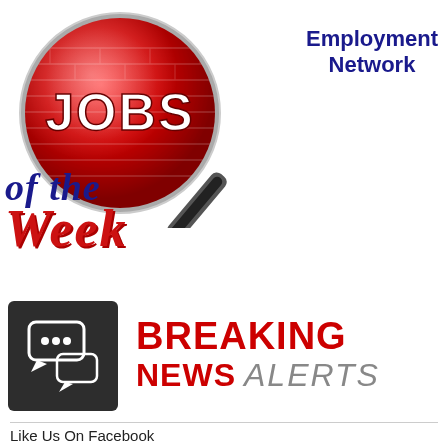[Figure (logo): Jobs of the Week Employment Network logo: red magnifying glass with 'JOBS' text in white, overlaid with 'of the Week' in dark blue italic and red italic text, plus 'Employment Network' in bold dark blue to the right]
[Figure (logo): Breaking News Alerts logo: dark grey box with speech bubble icons on left, 'BREAKING' in bold red, 'NEWS' in bold red and 'ALERTS' in grey italic on right]
Like Us On Facebook